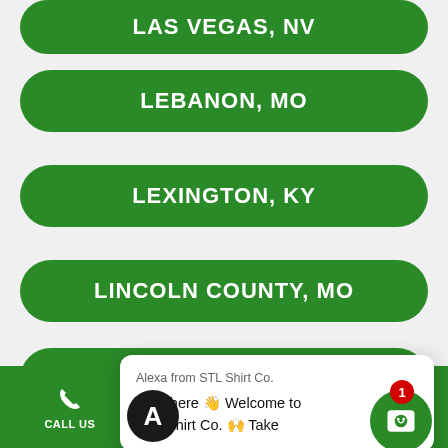LAS VEGAS, NV
LEBANON, MO
LEXINGTON, KY
LINCOLN COUNTY, MO
LINCO...
LITCH...
LITTLE ROCK, AR
Alexa from STL Shirt Co.
Hey there 👋 Welcome to STL Shirt Co. 🙌 Take
CALL US   TEXT US   GET A QUOTE